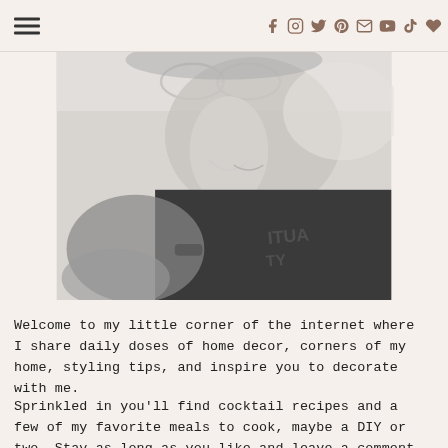☰ [social icons: facebook, instagram, twitter, pinterest, email, youtube, tiktok, heart]
[Figure (photo): Black and white photo of a woman with glasses on her head, wearing a dark sweatshirt with text, holding her hand near her face and smiling.]
Welcome to my little corner of the internet where I share daily doses of home decor, corners of my home, styling tips, and inspire you to decorate with me.
Sprinkled in you'll find cocktail recipes and a few of my favorite meals to cook, maybe a DIY or two. Stay as long as you like and leave a comment to say